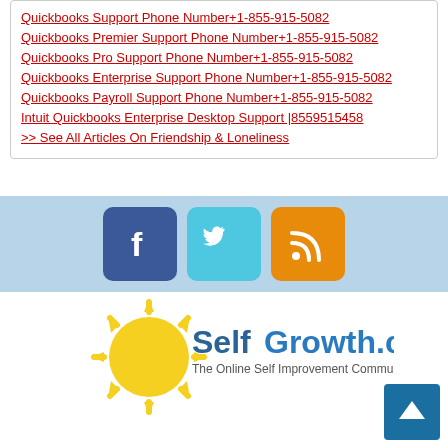Quickbooks Support Phone Number+1-855-915-5082
Quickbooks Premier Support Phone Number+1-855-915-5082
Quickbooks Pro Support Phone Number+1-855-915-5082
Quickbooks Enterprise Support Phone Number+1-855-915-5082
Quickbooks Payroll Support Phone Number+1-855-915-5082
Intuit Quickbooks Enterprise Desktop Support |8559515458
>> See All Articles On Friendship & Loneliness
[Figure (logo): Social media icons: Facebook (blue), Twitter (cyan), RSS (orange)]
[Figure (logo): SelfGrowth.com logo - sun graphic with text 'SelfGrowth.com The Online Self Improvement Community']